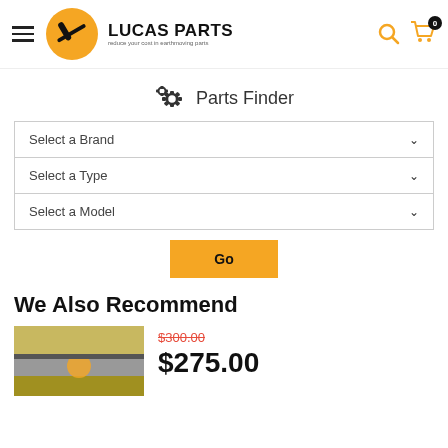Lucas Parts - reduce your cost in earthmoving parts
Parts Finder
Select a Brand
Select a Type
Select a Model
We Also Recommend
$300.00 (was) / $275.00 (now)